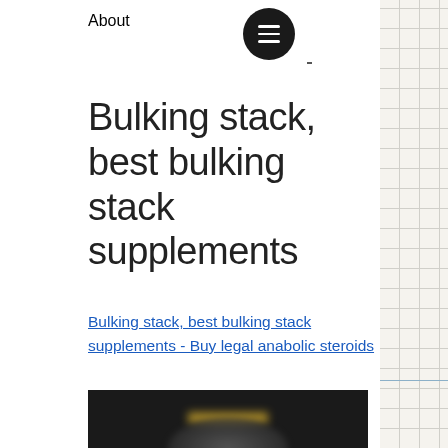About
Bulking stack, best bulking stack supplements
Bulking stack, best bulking stack supplements - Buy legal anabolic steroids
[Figure (photo): Blurred dark image showing a muscular figure with supplement product containers at the bottom displaying colorful labels]